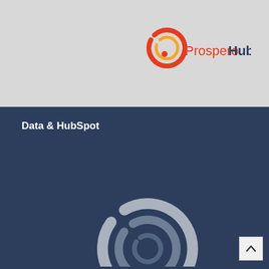Sales Enablement
Marketing & Sales Alignment
Reporting & ROI
B2B Video Marketing
[Figure (logo): ProsperoHub logo with circular swirl icon in red/orange gradient]
Data & HubSpot
HubSpot Tech Stack
Prospect Ecosystem
Implementation
Onboarding & Management
Training & Consulting
[Figure (logo): Large white/grey ProsperoHub circular swirl watermark logo at bottom of dark section]